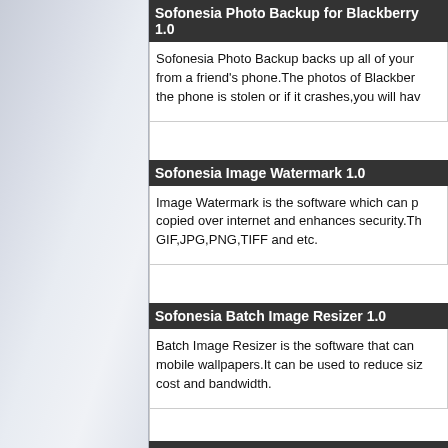Sofonesia Photo Backup for Blackberry 1.0
Sofonesia Photo Backup backs up all of your from a friend's phone.The photos of Blackber the phone is stolen or if it crashes,you will hav
Sofonesia Image Watermark 1.0
Image Watermark is the software which can p copied over internet and enhances security.Th GIF,JPG,PNG,TIFF and etc.
Sofonesia Batch Image Resizer 1.0
Batch Image Resizer is the software that can mobile wallpapers.It can be used to reduce siz cost and bandwidth.